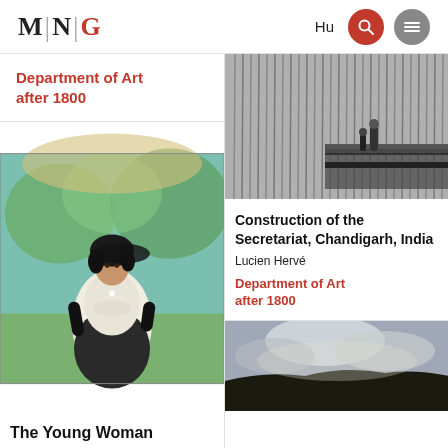MNG — Hu
Department of Art after 1800
[Figure (photo): Painting of a young woman in Victorian dress outdoors]
The Young Woman
[Figure (photo): Black and white photograph of construction of the Secretariat, Chandigarh, India — workers and tall metal rods]
Construction of the Secretariat, Chandigarh, India
Lucien Hervé
Department of Art after 1800
[Figure (photo): Landscape photograph with dramatic sky and dark terrain]